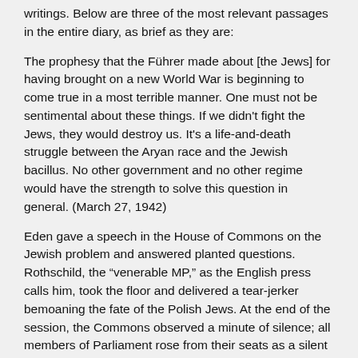writings. Below are three of the most relevant passages in the entire diary, as brief as they are:
The prophesy that the Führer made about [the Jews] for having brought on a new World War is beginning to come true in a most terrible manner. One must not be sentimental about these things. If we didn't fight the Jews, they would destroy us. It's a life-and-death struggle between the Aryan race and the Jewish bacillus. No other government and no other regime would have the strength to solve this question in general. (March 27, 1942)
Eden gave a speech in the House of Commons on the Jewish problem and answered planted questions. Rothschild, the “venerable MP,” as the English press calls him, took the floor and delivered a tear-jerker bemoaning the fate of the Polish Jews. At the end of the session, the Commons observed a minute of silence; all members of Parliament rose from their seats as a silent tribute to Jewry. That was quite appropriate for the British House of Commons. Parliament is really a sort of Jewish exchange. The English, anyway, are the Jews among the Aryans. (December 19, 1942)